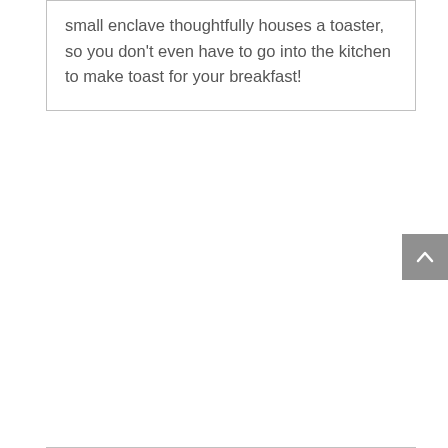small enclave thoughtfully houses a toaster, so you don't even have to go into the kitchen to make toast for your breakfast!